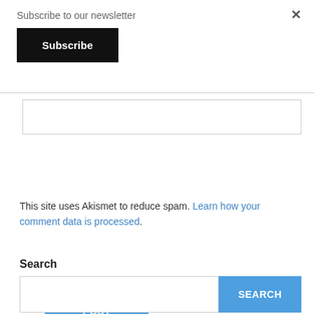Subscribe to our newsletter
Subscribe
POST COMMENT
This site uses Akismet to reduce spam. Learn how your comment data is processed.
Search
SEARCH